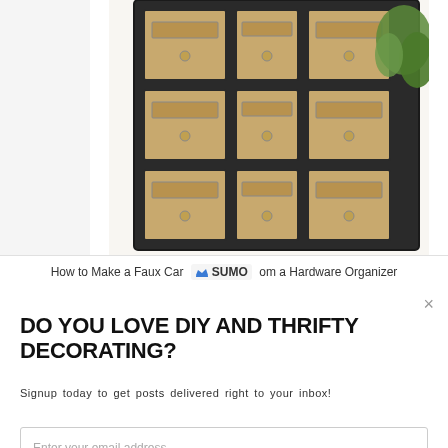[Figure (photo): Photo of a wooden apothecary-style card catalog organizer with 9 drawers arranged in a 3x3 grid, each with a metal label holder and small knob, with a green plant in the upper right corner.]
How to Make a Faux Card Catalog from a Hardware Organizer
DO YOU LOVE DIY AND THRIFTY DECORATING?
Signup today to get posts delivered right to your inbox!
Enter your email address
Subscribe Now